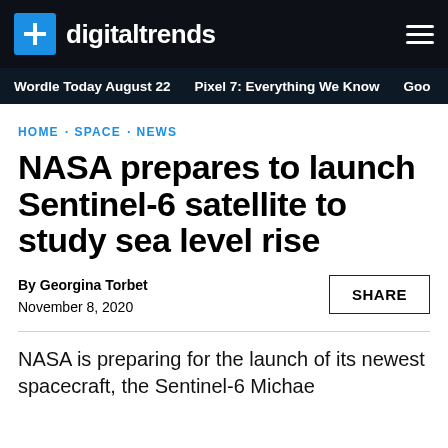digitaltrends
Wordle Today August 22  ·  Pixel 7: Everything We Know  ·  Goo
HOME · SPACE · NEWS
NASA prepares to launch Sentinel-6 satellite to study sea level rise
By Georgina Torbet
November 8, 2020
NASA is preparing for the launch of its newest spacecraft, the Sentinel-6 Michae